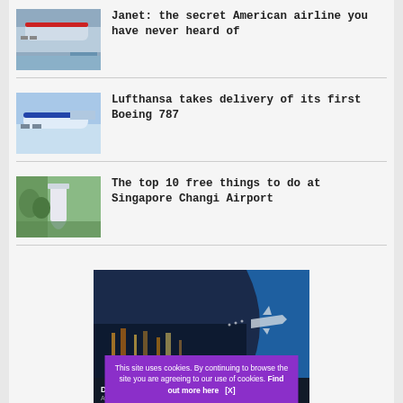[Figure (photo): Airplane with red stripe on tarmac]
Janet: the secret American airline you have never heard of
[Figure (photo): Lufthansa aircraft in flight against blue sky]
Lufthansa takes delivery of its first Boeing 787
[Figure (photo): Waterfall structure with tropical trees at Singapore Changi Airport]
The top 10 free things to do at Singapore Changi Airport
[Figure (photo): Aviation website advertisement banner with city skyline and airplane graphic]
This site uses cookies. By continuing to browse the site you are agreeing to our use of cookies. Find out more here   [X]